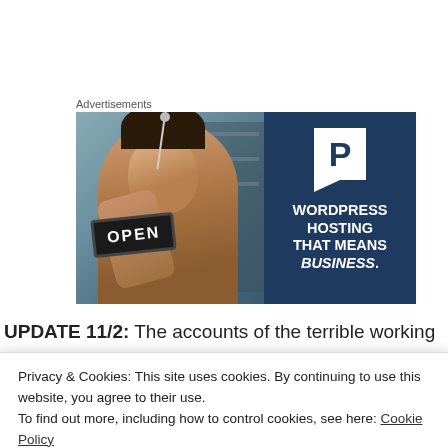Advertisements
[Figure (photo): Advertisement banner for WordPress Hosting. Left side: photo of a smiling woman holding an OPEN sign in a shop doorway. Right side: dark navy blue panel with a white 'P' logo in a box shape and text reading 'WORDPRESS HOSTING THAT MEANS BUSINESS.']
UPDATE 11/2: The accounts of the terrible working
Privacy & Cookies: This site uses cookies. By continuing to use this website, you agree to their use.
To find out more, including how to control cookies, see here: Cookie Policy
Close and accept
has added her voice.